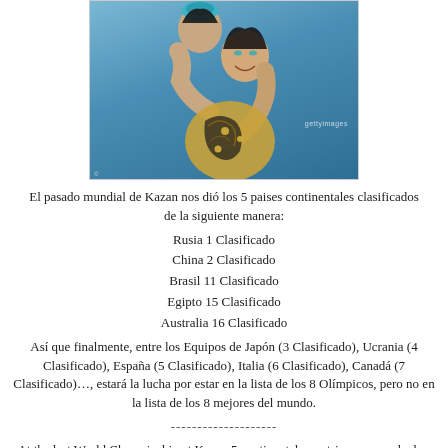[Figure (photo): Two synchronized swimmers embracing, wearing decorative swimsuits with teal and gold patterns, photo credited to Getty Images]
El pasado mundial de Kazan nos dió los 5 paises continentales clasificados de la siguiente manera:
Rusia 1 Clasificado
China 2 Clasificado
Brasil 11 Clasificado
Egipto 15 Clasificado
Australia 16 Clasificado
Así que finalmente, entre los Equipos de Japón (3 Clasificado), Ucrania (4 Clasificado), España (5 Clasificado), Italia (6 Clasificado), Canadá (7 Clasificado)…, estará la lucha por estar en la lista de los 8 Olímpicos, pero no en la lista de los 8 mejores del mundo.
--------------------
At the last World Champioship at Kazan 5 continental countries were ranked as follows:
Russia (1)
China (2)